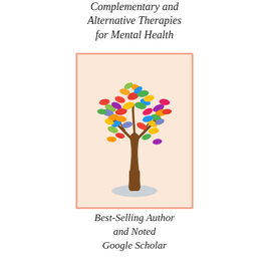Complementary and Alternative Therapies for Mental Health
[Figure (illustration): A colorful stylized tree with multicolored leaves (red, orange, yellow, green, blue, purple) on a peach/salmon background with a terracotta border. The tree has a brown trunk and rests on a light grey-blue ground shadow.]
Best-Selling Author and Noted Google Scholar